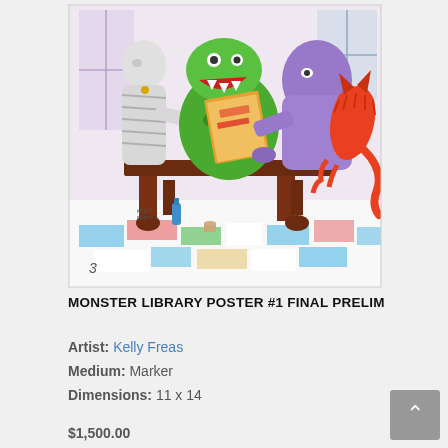[Figure (illustration): A colorful marker illustration showing monster characters (a mummy, a green creature, and a red devil/demon) gathered around a wooden library table reading books. The floor has a colorful geometric tile pattern. Artist signature 'Kelly Freas' visible in lower left. Number '3' also visible.]
MONSTER LIBRARY POSTER #1 FINAL PRELIM
Artist: Kelly Freas
Medium: Marker
Dimensions: 11 x 14
$1,500.00